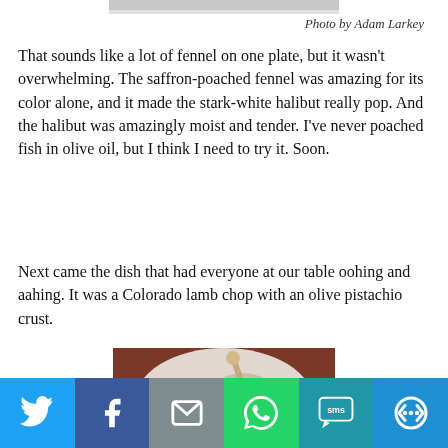[Figure (photo): Top portion of a food photo showing a white plate with a dish, cropped at the top of the page]
Photo by Adam Larkey
That sounds like a lot of fennel on one plate, but it wasn't overwhelming. The saffron-poached fennel was amazing for its color alone, and it made the stark-white halibut really pop. And the halibut was amazingly moist and tender. I've never poached fish in olive oil, but I think I need to try it. Soon.
Next came the dish that had everyone at our table oohing and aahing. It was a Colorado lamb chop with an olive pistachio crust.
[Figure (photo): Photo of a Colorado lamb chop with olive pistachio crust on a white plate, showing the bone of the chop with colorful garnishes]
Social sharing bar with Twitter, Facebook, Email, WhatsApp, SMS, and More buttons